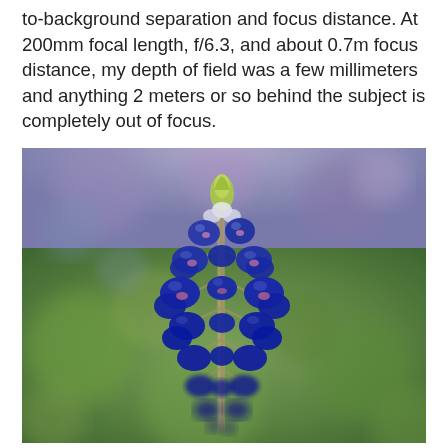to-background separation and focus distance. At 200mm focal length, f/6.3, and about 0.7m focus distance, my depth of field was a few millimeters and anything 2 meters or so behind the subject is completely out of focus.
[Figure (photo): Close-up macro photograph of a blue lupine (bluebonnet) flower spike in sharp focus against a blurred green and purple bokeh background, demonstrating shallow depth of field]